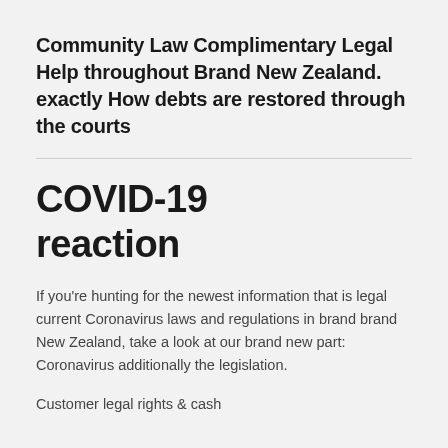Community Law Complimentary Legal Help throughout Brand New Zealand. exactly How debts are restored through the courts
COVID-19 reaction
If you're hunting for the newest information that is legal current Coronavirus laws and regulations in brand brand New Zealand, take a look at our brand new part: Coronavirus additionally the legislation.
Customer legal rights & cash